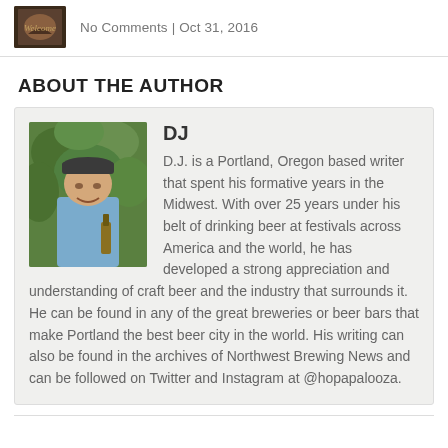No Comments | Oct 31, 2016
ABOUT THE AUTHOR
[Figure (photo): Photo of DJ, a man in a blue shirt and cap standing outdoors among green plants, holding a beer bottle]
DJ

D.J. is a Portland, Oregon based writer that spent his formative years in the Midwest. With over 25 years under his belt of drinking beer at festivals across America and the world, he has developed a strong appreciation and understanding of craft beer and the industry that surrounds it. He can be found in any of the great breweries or beer bars that make Portland the best beer city in the world. His writing can also be found in the archives of Northwest Brewing News and can be followed on Twitter and Instagram at @hopapalooza.